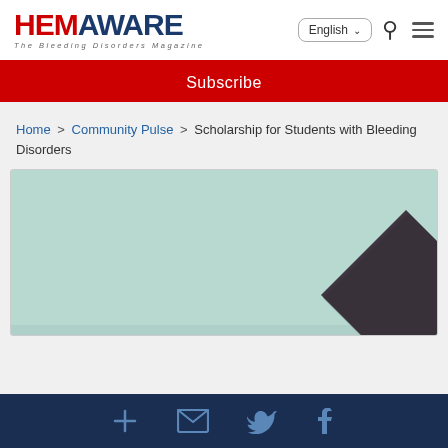HEMAWARE - The Bleeding Disorders Magazine
Subscribe
Home > Community Pulse > Scholarship for Students with Bleeding Disorders
[Figure (photo): Graduation cap with gold tassel on a light teal/mint background]
Social icons: plus, email, twitter, facebook